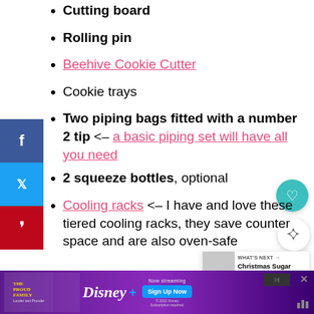Cutting board
Rolling pin
Beehive Cookie Cutter
Cookie trays
Two piping bags fitted with a number 2 tip <– a basic piping set will have all you need
2 squeeze bottles, optional
Cooling racks <– I have and love these tiered cooling racks, they save counter space and are also oven-safe